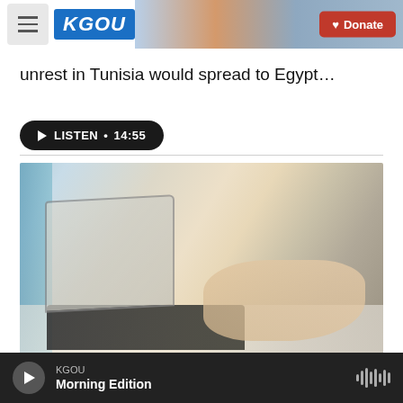KGOU | Donate
unrest in Tunisia would spread to Egypt…
LISTEN • 14:55
[Figure (photo): Woman sitting cross-legged on a bed, typing on a laptop computer, wearing a white outfit and a gold watch]
KGOU Morning Edition